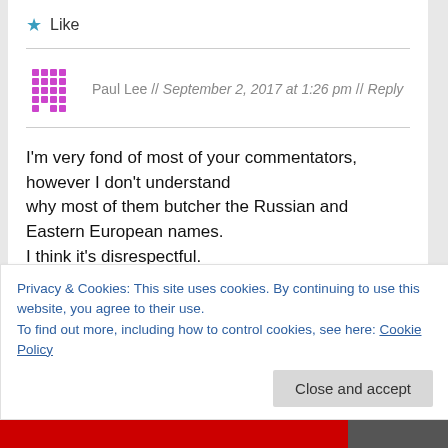★ Like
Paul Lee // September 2, 2017 at 1:26 pm // Reply
I'm very fond of most of your commentators, however I don't understand
why most of them butcher the Russian and Eastern European names.
I think it's disrespectful.

They get Kuznetsova and Plishkova right, but not most
Privacy & Cookies: This site uses cookies. By continuing to use this website, you agree to their use.
To find out more, including how to control cookies, see here: Cookie Policy
Close and accept